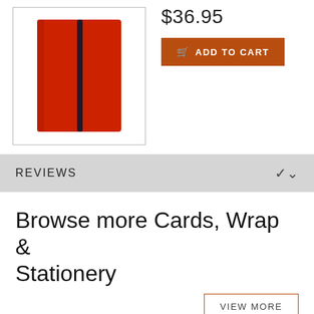[Figure (photo): Red hardcover notebook with black elastic band closure, shown in a bordered product image box]
$36.95
ADD TO CART
REVIEWS
Browse more Cards, Wrap & Stationery
VIEW MORE